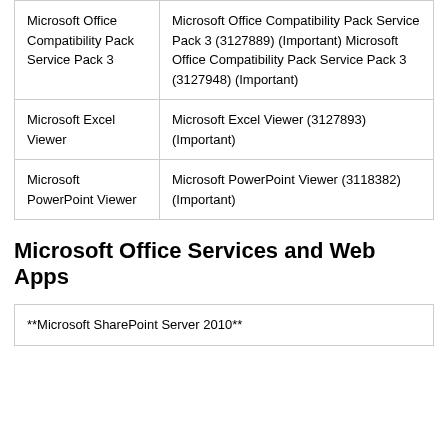| Product | Maximum Security Rating** |
| --- | --- |
| Microsoft Office Compatibility Pack Service Pack 3 | Microsoft Office Compatibility Pack Service Pack 3 (3127889) (Important) Microsoft Office Compatibility Pack Service Pack 3 (3127948) (Important) |
| Microsoft Excel Viewer | Microsoft Excel Viewer (3127893) (Important) |
| Microsoft PowerPoint Viewer | Microsoft PowerPoint Viewer (3118382) (Important) |
Microsoft Office Services and Web Apps
| **Microsoft SharePoint Server 2010** |
| --- |